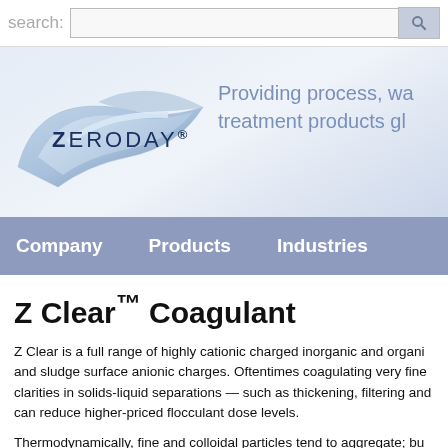search:
[Figure (logo): Zeroday logo with stylized blue arrow/wing shape and text ZERODAY®]
Providing process, wa treatment products gl
Company   Products   Industries
Z Clear™ Coagulant
Z Clear is a full range of highly cationic charged inorganic and organi and sludge surface anionic charges. Oftentimes coagulating very fine clarities in solids-liquid separations — such as thickening, filtering and can reduce higher-priced flocculant dose levels.
Thermodynamically, fine and colloidal particles tend to aggregate; bu and disperse the particles,which prevents good water clarity levels. In anionic t delivering the autonomy of the particles from each other.